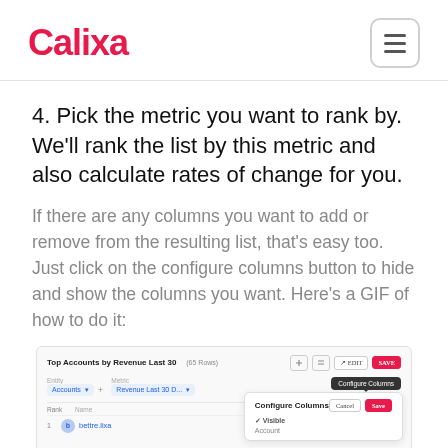Calixa
4. Pick the metric you want to rank by. We'll rank the list by this metric and also calculate rates of change for you.
If there are any columns you want to add or remove from the resulting list, that's easy too. Just click on the configure columns button to hide and show the columns you want. Here's a GIF of how to do it:
[Figure (screenshot): Screenshot of Calixa 'Top Accounts by Revenue Last 30' table with Configure Columns panel open showing Visible and Account sections]